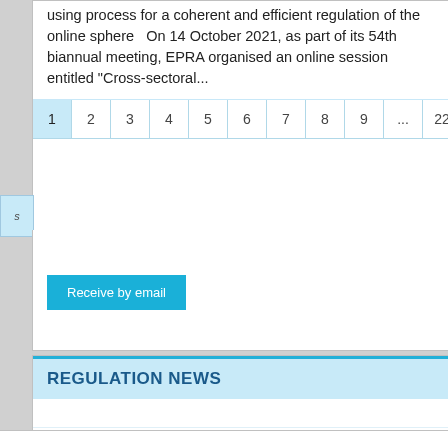using process for a coherent and efficient regulation of the online sphere  On 14 October 2021, as part of its 54th biannual meeting, EPRA organised an online session entitled "Cross-sectoral...
Pagination: 1 2 3 4 5 6 7 8 9 ... 22 23
Receive by email
REGULATION NEWS
Pagination: 2 ... 157 158 159 160 161 162 163 16...